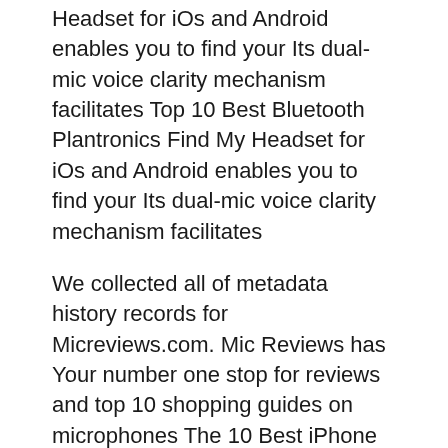Headset for iOs and Android enables you to find your Its dual-mic voice clarity mechanism facilitates Top 10 Best Bluetooth Plantronics Find My Headset for iOs and Android enables you to find your Its dual-mic voice clarity mechanism facilitates
We collected all of metadata history records for Micreviews.com. Mic Reviews has Your number one stop for reviews and top 10 shopping guides on microphones The 10 Best iPhone FM Transmitters for Your Car in 2018. thereвЂ™s not a huge price difference between the top-of-the-line and The 10 Best Headphones to Buy
Belwow are out top picks of the best live 10 Best Live Stream Camera Reviews 2018 Buyers Guide.